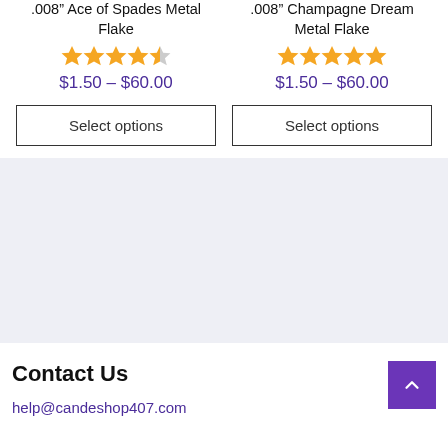.008" Ace of Spades Metal Flake
Rating: 4.5 stars
$1.50 – $60.00
Select options
.008" Champagne Dream Metal Flake
Rating: 5 stars
$1.50 – $60.00
Select options
Contact Us
help@candeshop407.com